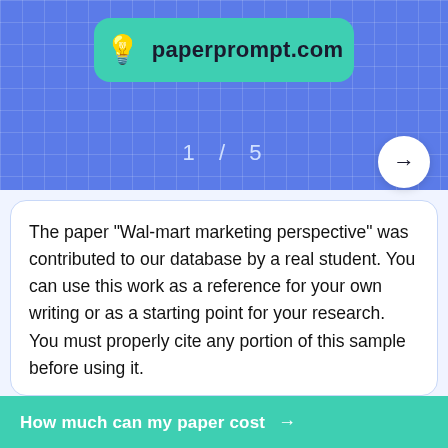[Figure (logo): paperprompt.com logo with lightbulb icon on teal rounded card against blue grid background]
1 / 5
The paper "Wal-mart marketing perspective" was contributed to our database by a real student. You can use this work as a reference for your own writing or as a starting point for your research. You must properly cite any portion of this sample before using it.
If this work is your intellectual property and you no longer would like it to appear in our database,
How much can my paper cost →